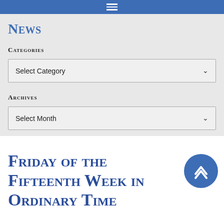News
Categories
Select Category
Archives
Select Month
Friday of the Fifteenth Week in Ordinary Time